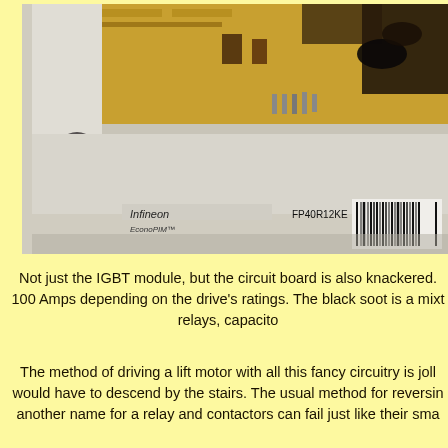[Figure (photo): Close-up photo of a damaged Infineon EconoPIM IGBT module with visible burn damage, black soot, and exposed circuit board with gold traces. The module shows the Infineon logo and partial part number FP40R12KE. A barcode is visible on the right side.]
Not just the IGBT module, but the circuit board is also knackered. 100 Amps depending on the drive's ratings. The black soot is a mixt relays, capacito
The method of driving a lift motor with all this fancy circuitry is joll would have to descend by the stairs. The usual method for reversin another name for a relay and contactors can fail just like their sma